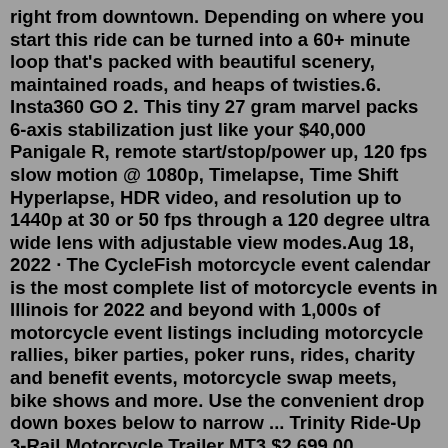right from downtown. Depending on where you start this ride can be turned into a 60+ minute loop that's packed with beautiful scenery, maintained roads, and heaps of twisties.6. Insta360 GO 2. This tiny 27 gram marvel packs 6-axis stabilization just like your $40,000 Panigale R, remote start/stop/power up, 120 fps slow motion @ 1080p, Timelapse, Time Shift Hyperlapse, HDR video, and resolution up to 1440p at 30 or 50 fps through a 120 degree ultra wide lens with adjustable view modes.Aug 18, 2022 · The CycleFish motorcycle event calendar is the most complete list of motorcycle events in Illinois for 2022 and beyond with 1,000s of motorcycle event listings including motorcycle rallies, biker parties, poker runs, rides, charity and benefit events, motorcycle swap meets, bike shows and more. Use the convenient drop down boxes below to narrow ... Trinity Ride-Up 3-Rail Motorcycle Trailer MT3 $2,699.00 Compare Out of stock The Original Slick Wheelie Motorcycle Hauler $169.95 Compare Add To Cart The Dandy